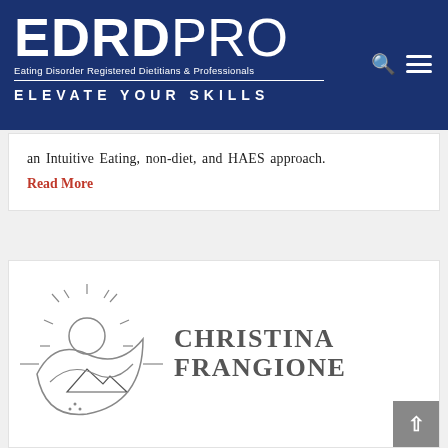[Figure (logo): EDRD PRO logo with tagline 'Eating Disorder Registered Dietitians & Professionals' and 'ELEVATE YOUR SKILLS' on dark blue background, with search and menu icons]
an Intuitive Eating, non-diet, and HAES approach.
Read More
[Figure (logo): Christina Frangione logo with sun, wave, and mountain illustration on the left and 'CHRISTINA FRANGIONE' text on the right in gray serif font]